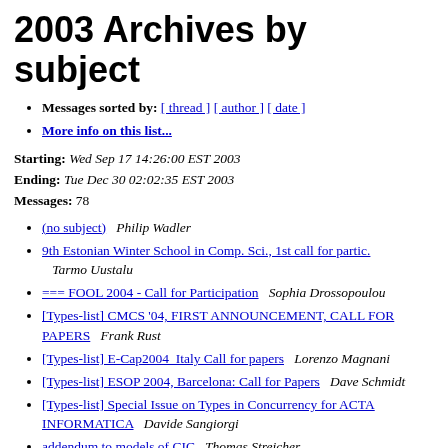2003 Archives by subject
Messages sorted by: [ thread ] [ author ] [ date ]
More info on this list...
Starting: Wed Sep 17 14:26:00 EST 2003
Ending: Tue Dec 30 02:02:35 EST 2003
Messages: 78
(no subject)   Philip Wadler
9th Estonian Winter School in Comp. Sci., 1st call for partic.   Tarmo Uustalu
=== FOOL 2004 - Call for Participation   Sophia Drossopoulou
[Types-list] CMCS '04, FIRST ANNOUNCEMENT, CALL FOR PAPERS   Frank Rust
[Types-list] E-Cap2004  Italy Call for papers   Lorenzo Magnani
[Types-list] ESOP 2004, Barcelona: Call for Papers   Dave Schmidt
[Types-list] Special Issue on Types in Concurrency for ACTA INFORMATICA   Davide Sangiorgi
addendum to models of CIC   Thomas Streicher
addendum to models of CIC   Thorsten Altenkirch